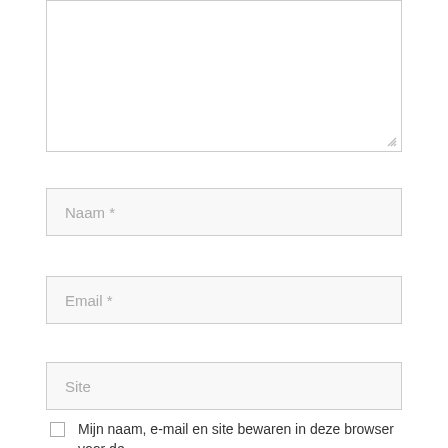[Figure (screenshot): A textarea input box (empty, with resize handle at bottom right)]
Naam *
Email *
Site
Mijn naam, e-mail en site bewaren in deze browser voor de volgende keer wanneer ik een reactie plaats.